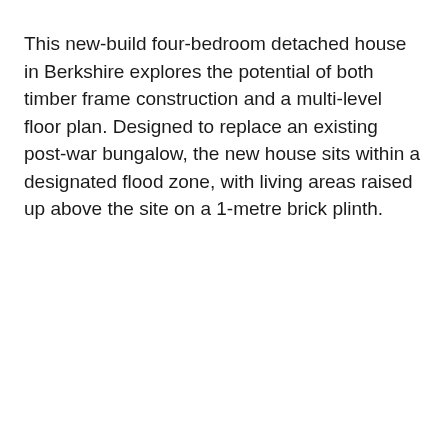This new-build four-bedroom detached house in Berkshire explores the potential of both timber frame construction and a multi-level floor plan. Designed to replace an existing post-war bungalow, the new house sits within a designated flood zone, with living areas raised up above the site on a 1-metre brick plinth.